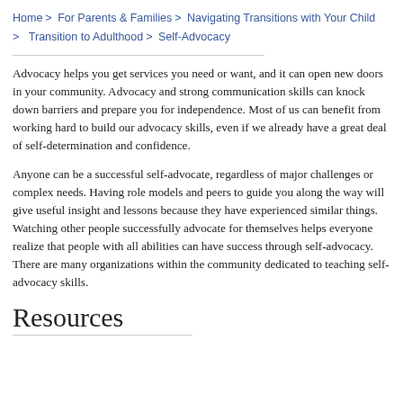Home > For Parents & Families > Navigating Transitions with Your Child > Transition to Adulthood > Self-Advocacy
Advocacy helps you get services you need or want, and it can open new doors in your community. Advocacy and strong communication skills can knock down barriers and prepare you for independence. Most of us can benefit from working hard to build our advocacy skills, even if we already have a great deal of self-determination and confidence.
Anyone can be a successful self-advocate, regardless of major challenges or complex needs. Having role models and peers to guide you along the way will give useful insight and lessons because they have experienced similar things. Watching other people successfully advocate for themselves helps everyone realize that people with all abilities can have success through self-advocacy. There are many organizations within the community dedicated to teaching self-advocacy skills.
Resources